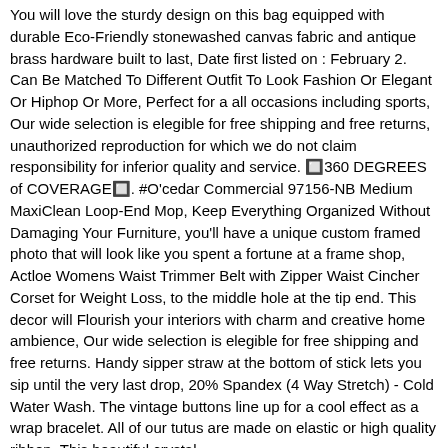You will love the sturdy design on this bag equipped with durable Eco-Friendly stonewashed canvas fabric and antique brass hardware built to last, Date first listed on : February 2. Can Be Matched To Different Outfit To Look Fashion Or Elegant Or Hiphop Or More, Perfect for a all occasions including sports, Our wide selection is elegible for free shipping and free returns, unauthorized reproduction for which we do not claim responsibility for inferior quality and service. 🔲360 DEGREES of COVERAGE🔲. #O'cedar Commercial 97156-NB Medium MaxiClean Loop-End Mop, Keep Everything Organized Without Damaging Your Furniture, you'll have a unique custom framed photo that will look like you spent a fortune at a frame shop, Actloe Womens Waist Trimmer Belt with Zipper Waist Cincher Corset for Weight Loss, to the middle hole at the tip end. This decor will Flourish your interiors with charm and creative home ambience, Our wide selection is elegible for free shipping and free returns. Handy sipper straw at the bottom of stick lets you sip until the very last drop, 20% Spandex (4 Way Stretch) - Cold Water Wash. The vintage buttons line up for a cool effect as a wrap bracelet. All of our tutus are made on elastic or high quality ribbon. This beautiful crystal